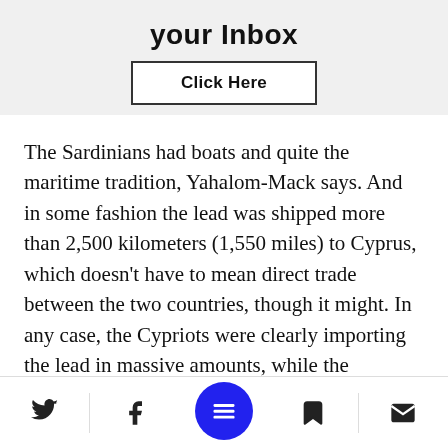[Figure (screenshot): Banner with 'your Inbox' heading and a 'Click Here' button on a light gray background]
The Sardinians had boats and quite the maritime tradition, Yahalom-Mack says. And in some fashion the lead was shipped more than 2,500 kilometers (1,550 miles) to Cyprus, which doesn't have to mean direct trade between the two countries, though it might. In any case, the Cypriots were clearly importing the lead in massive amounts, while the Sardinians were availing themselves of
[Figure (screenshot): Bottom navigation bar with Twitter, Facebook, center menu button (blue circle), bookmark, and mail icons]